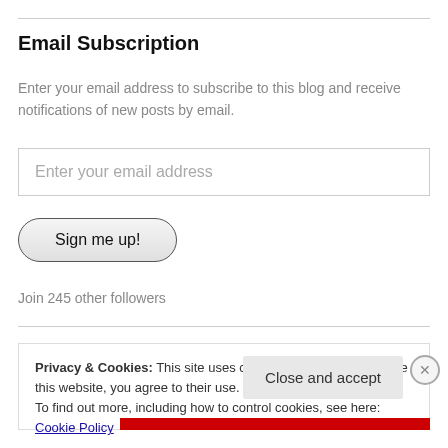Email Subscription
Enter your email address to subscribe to this blog and receive notifications of new posts by email.
Enter your email address
Sign me up!
Join 245 other followers
Privacy & Cookies: This site uses cookies. By continuing to use this website, you agree to their use.
To find out more, including how to control cookies, see here: Cookie Policy
Close and accept